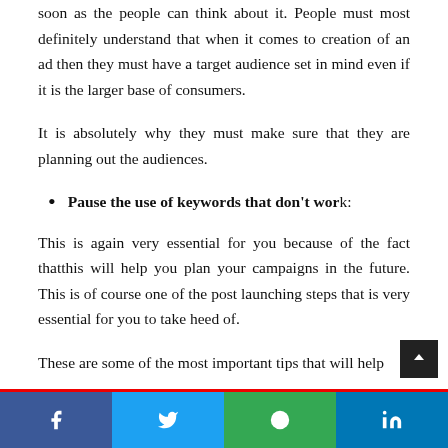it is an absolute possibility and must be worked on as soon as the people can think about it. People must most definitely understand that when it comes to creation of an ad then they must have a target audience set in mind even if it is the larger base of consumers.
It is absolutely why they must make sure that they are planning out the audiences.
Pause the use of keywords that don't work:
This is again very essential for you because of the fact thatthis will help you plan your campaigns in the future. This is of course one of the post launching steps that is very essential for you to take heed of.
These are some of the most important tips that will help